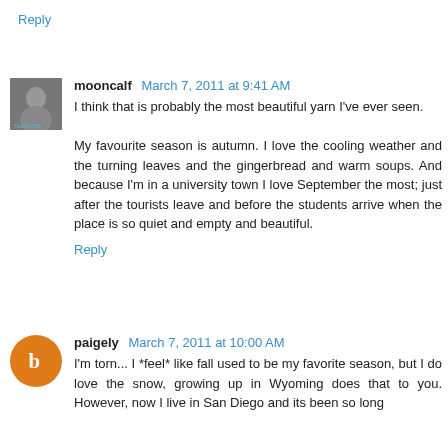Reply
mooncalf March 7, 2011 at 9:41 AM
I think that is probably the most beautiful yarn I've ever seen.

My favourite season is autumn. I love the cooling weather and the turning leaves and the gingerbread and warm soups. And because I'm in a university town I love September the most; just after the tourists leave and before the students arrive when the place is so quiet and empty and beautiful.
Reply
paigely March 7, 2011 at 10:00 AM
I'm torn... I *feel* like fall used to be my favorite season, but I do love the snow, growing up in Wyoming does that to you. However, now I live in San Diego and its been so long